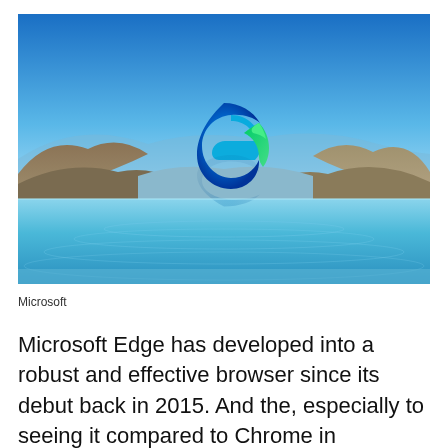[Figure (photo): Microsoft Edge browser promotional image showing a serene lake landscape with blue sky, mountains on both sides, calm blue water with ripples, and the Microsoft Edge logo (a teal/blue and green wave-shaped icon) centered above its reflection in the water.]
Microsoft
Microsoft Edge has developed into a robust and effective browser since its debut back in 2015. And the, especially to seeing it compared to Chrome in